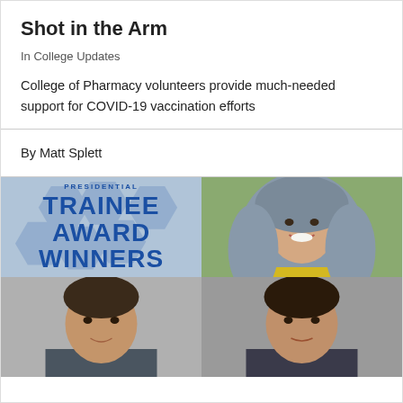Shot in the Arm
In College Updates
College of Pharmacy volunteers provide much-needed support for COVID-19 vaccination efforts
By Matt Splett
[Figure (photo): Two-row photo grid: top-left shows 'PRESIDENTIAL TRAINEE AWARD WINNERS' text on a blue geometric background; top-right shows a headshot of a woman in a grey hijab and yellow top; bottom-left and bottom-right show partial headshots of two men.]